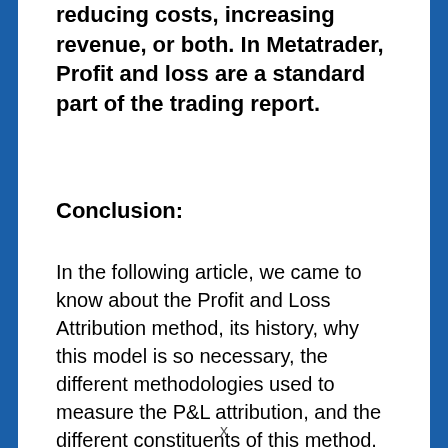reducing costs, increasing revenue, or both. In Metatrader, Profit and loss are a standard part of the trading report.
Conclusion:
In the following article, we came to know about the Profit and Loss Attribution method, its history, why this model is so necessary, the different methodologies used to measure the P&L attribution, and the different constituents of this method. So, from the following, we can understand
x